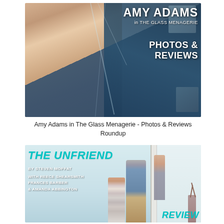[Figure (photo): Promotional image for Amy Adams in The Glass Menagerie showing Amy Adams' face with mirror shatter effect and blue overlay. White bold text reads: AMY ADAMS / in THE GLASS MENAGERIE / PHOTOS & REVIEWS]
Amy Adams in The Glass Menagerie - Photos & Reviews Roundup
[Figure (photo): Promotional poster for The Unfriend by Steven Moffat, with light blue-grey room background, showing two people standing by a door. Teal bold italic text: THE UNFRIEND. White bold text: BY STEVEN MOFFAT / WITH REECE SHEARSMITH / FRANCES BARBER / & AMANDA ABBINGTON. Partial teal text: REVIEW at bottom right.]